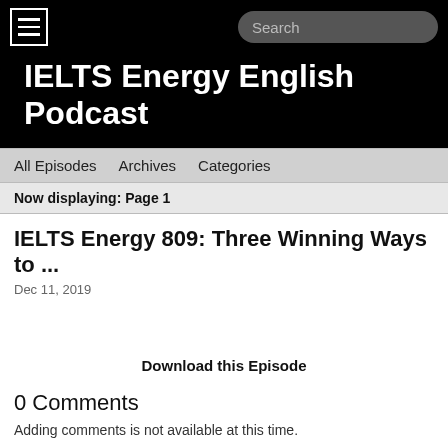IELTS Energy English Podcast
All Episodes   Archives   Categories
Now displaying: Page 1
IELTS Energy 809: Three Winning Ways to ...
Dec 11, 2019
Download this Episode
0 Comments
Adding comments is not available at this time.